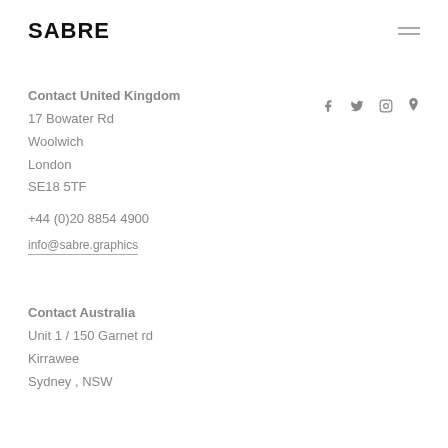SABRE
Contact United Kingdom
17 Bowater Rd
Woolwich
London
SE18 5TF
+44 (0)20 8854 4900
info@sabre.graphics
[Figure (infographic): Social media icons: Facebook, Twitter, Instagram, Location pin]
Contact Australia
Unit 1 / 150 Garnet rd
Kirrawee
Sydney , NSW